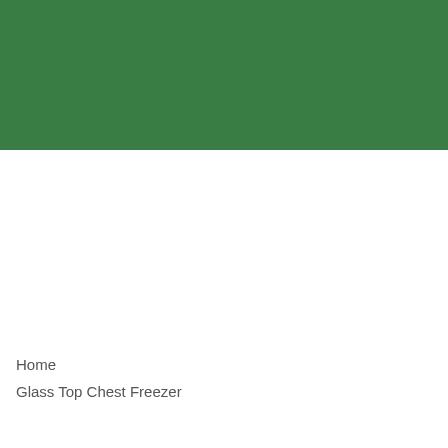[Figure (other): Solid green rectangular banner filling the top portion of the page]
Home
Glass Top Chest Freezer